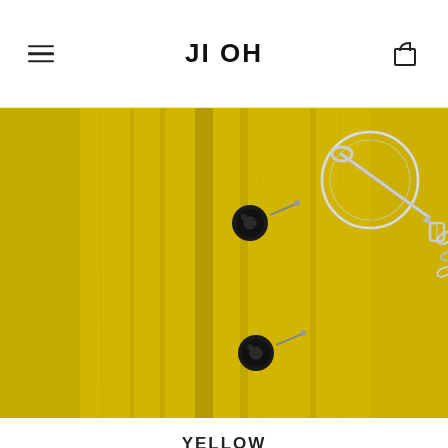JI OH
[Figure (photo): Close-up of a bright yellow fur coat with black buttons and a silver safety pin clasp/chain accessory at the neckline area]
YELLOW